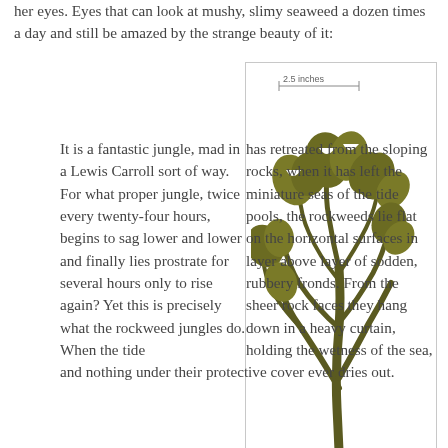her eyes. Eyes that can look at mushy, slimy seaweed a dozen times a day and still be amazed by the strange beauty of it:
[Figure (illustration): Botanical illustration of Fucus distichus, a type of rockweed seaweed, shown upright with branching fronds and lobed tips, in olive-green tones. A scale bar labeled '2.5 inches' appears at the top. The Latin name 'Fucus distichus' is shown in italic script below the illustration.]
It is a fantastic jungle, mad in a Lewis Carroll sort of way. For what proper jungle, twice every twenty-four hours, begins to sag lower and lower and finally lies prostrate for several hours only to rise again? Yet this is precisely what the rockweed jungles do. When the tide has retreated from the sloping rocks, when it has left the miniature seas of the tide pools, the rockweeds lie flat on the horizontal surfaces in layer above layer of sodden, rubbery fronds. From the sheer rock faces they hang down in a heavy curtain, holding the wetness of the sea, and nothing under their protective cover ever dries out.